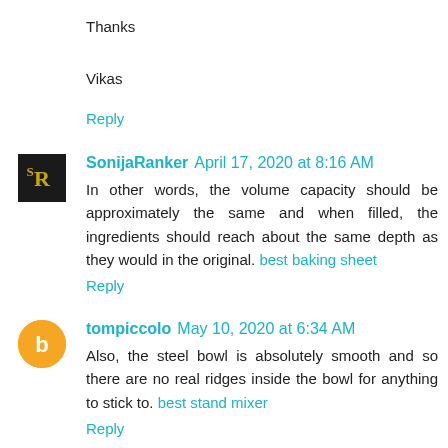Thanks
Vikas
Reply
SonijaRanker  April 17, 2020 at 8:16 AM
In other words, the volume capacity should be approximately the same and when filled, the ingredients should reach about the same depth as they would in the original. best baking sheet
Reply
tompiccolo  May 10, 2020 at 6:34 AM
Also, the steel bowl is absolutely smooth and so there are no real ridges inside the bowl for anything to stick to. best stand mixer
Reply